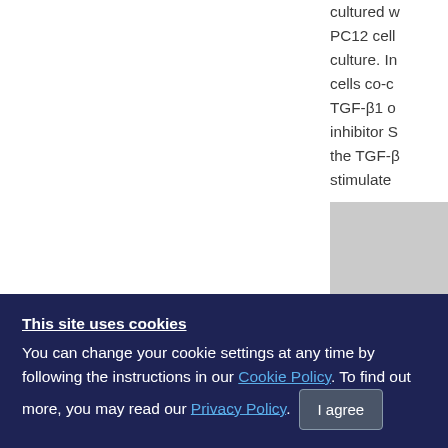cultured w PC12 cell culture. I cells co-c TGF-B1 o inhibitor S the TGF-B stimulate
[Figure (other): Partial scientific figure showing a bar chart or blot image on a gray background, partially visible at right edge of page]
This site uses cookies
You can change your cookie settings at any time by following the instructions in our Cookie Policy. To find out more, you may read our Privacy Policy.